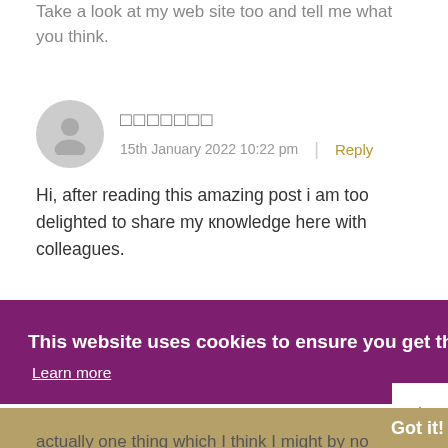Take a look at my web site too and tell me what you think.
□□□□□□□
15th January 2022 10:22 pm
Reply
Hi, after reading this amazing post i am too delighted to share my кnowledge here with colleagues.
This website uses cookies to ensure you get the best experience on our website.
Learn more
Got it!
actually one thing which I think I might by no means